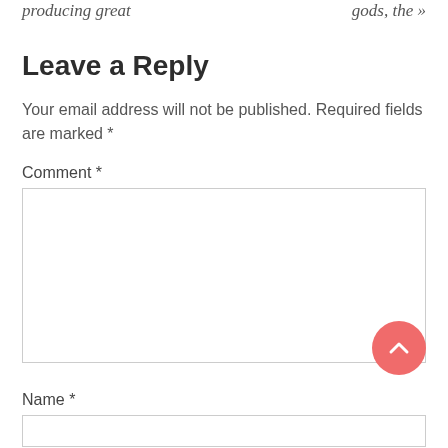producing great   gods, the »
Leave a Reply
Your email address will not be published. Required fields are marked *
Comment *
[Figure (other): Large empty comment text area input box with border]
[Figure (other): Red circular scroll-to-top button with upward chevron arrow]
Name *
[Figure (other): Empty name text input box with border]